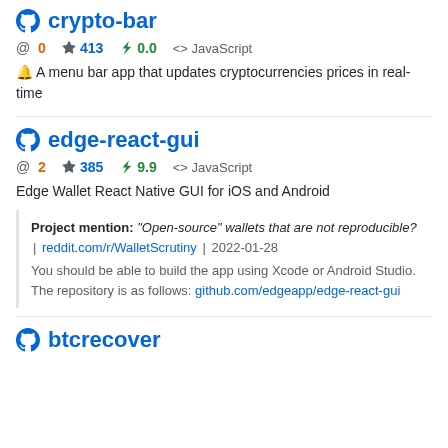crypto-bar
@ 0  ☆ 413  ⚡ 0.0  <> JavaScript
🔔 A menu bar app that updates cryptocurrencies prices in real-time
edge-react-gui
@ 2  ☆ 385  ⚡ 9.9  <> JavaScript
Edge Wallet React Native GUI for iOS and Android
Project mention: "Open-source" wallets that are not reproducible? | reddit.com/r/WalletScrutiny | 2022-01-28
You should be able to build the app using Xcode or Android Studio. The repository is as follows: github.com/edgeapp/edge-react-gui
btcrecover